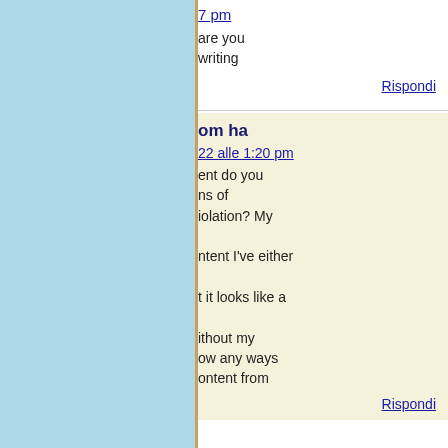7 pm
are you writing
Rispondi
om ha
22 alle 1:20 pm
ent do you ns of iolation? My ntent I've either t it looks like a ithout my ow any ways ontent from
Rispondi